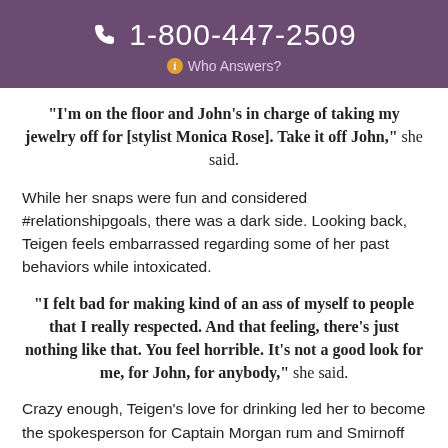1-800-447-2509
Who Answers?
“I’m on the floor and John’s in charge of taking my jewelry off for [stylist Monica Rose]. Take it off John,” she said.
While her snaps were fun and considered #relationshipgoals, there was a dark side. Looking back, Teigen feels embarrassed regarding some of her past behaviors while intoxicated.
“I felt bad for making kind of an ass of myself to people that I really respected. And that feeling, there’s just nothing like that. You feel horrible. It’s not a good look for me, for John, for anybody,” she said.
Crazy enough, Teigen’s love for drinking led her to become the spokesperson for Captain Morgan rum and Smirnoff vodka. She explained how the celebrity culture and lifestyle makes it easy to overindulge.